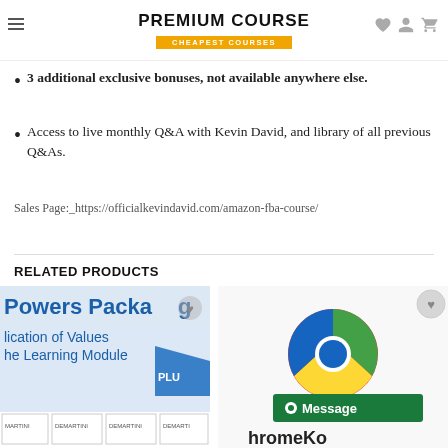PREMIUM COURSE / CHEAPEST COURSES
3 additional exclusive bonuses, not available anywhere else.
Access to live monthly Q&A with Kevin David, and library of all previous Q&As.
Sales Page: https://officialkevindavid.com/amazon-fba-course/
RELATED PRODUCTS
[Figure (screenshot): Powers Package – Application of Values – The Learning Module product thumbnail with DeMartini branding]
[Figure (screenshot): Chrome extension product thumbnail with Google Chrome logo and Message badge and 'hromeKo' text]